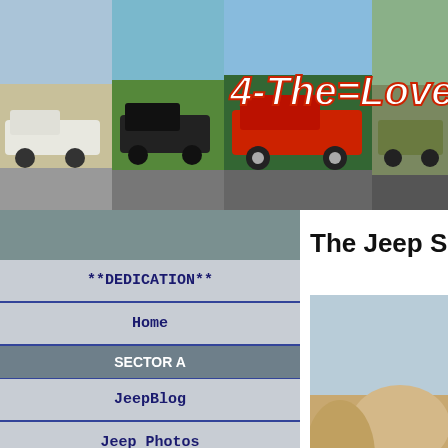[Figure (photo): Website header banner with multiple Jeep vehicle photos and site title '4-The=Love' overlaid in italic white/orange text]
**DEDICATION**
Home
SECTOR A
JeepBlog
Jeep Photos
Your Jeep Page
Jeep Books Plus!
Find Jeep Parts
SECTOR B
Top 5 Best Jeeps
The Willys Jeep
The Jeep Scrambler CJ8: A
[Figure (photo): Photo of a Jeep vehicle on rocky desert terrain with large boulders in the background]